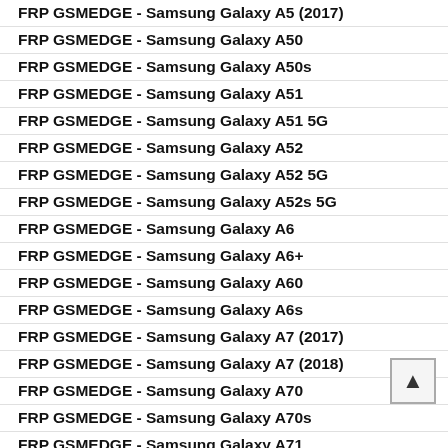FRP GSMEDGE - Samsung Galaxy A5 (2017)
FRP GSMEDGE - Samsung Galaxy A50
FRP GSMEDGE - Samsung Galaxy A50s
FRP GSMEDGE - Samsung Galaxy A51
FRP GSMEDGE - Samsung Galaxy A51 5G
FRP GSMEDGE - Samsung Galaxy A52
FRP GSMEDGE - Samsung Galaxy A52 5G
FRP GSMEDGE - Samsung Galaxy A52s 5G
FRP GSMEDGE - Samsung Galaxy A6
FRP GSMEDGE - Samsung Galaxy A6+
FRP GSMEDGE - Samsung Galaxy A60
FRP GSMEDGE - Samsung Galaxy A6s
FRP GSMEDGE - Samsung Galaxy A7 (2017)
FRP GSMEDGE - Samsung Galaxy A7 (2018)
FRP GSMEDGE - Samsung Galaxy A70
FRP GSMEDGE - Samsung Galaxy A70s
FRP GSMEDGE - Samsung Galaxy A71